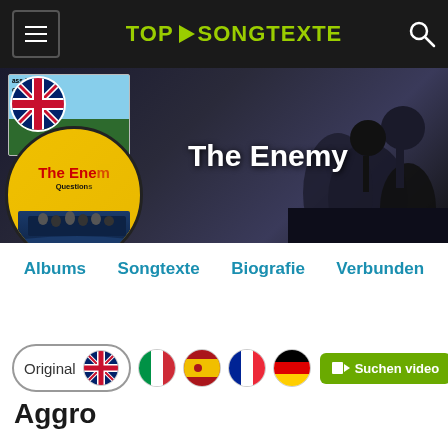TOP SONGTEXTE — navigation header
[Figure (screenshot): Hero banner with artist image thumbnail on left showing UK flag circle, a card thumbnail with text 'ass 12 Vic Complete Summary In Hindi', and a yellow circle with 'The Enemy Questions'. Right side shows dark silhouette background. White bold text reads 'The Enemy'.]
Albums  Songtexte  Biografie  Verbunden
[Figure (infographic): Language selector row: 'Original' pill with UK flag, then Italian flag circle, Spanish flag circle, French flag circle, German flag circle (partial), and green 'Suchen video' button with video camera icon.]
Aggro